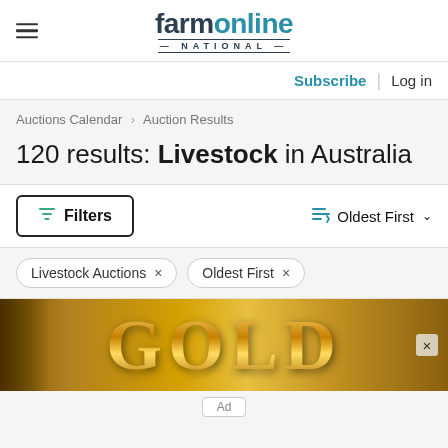farmonline NATIONAL
Subscribe | Log in
Auctions Calendar > Auction Results
120 results: Livestock in Australia
Filters | Oldest First
Livestock Auctions × | Oldest First ×
[Figure (photo): Gold text advertisement banner with golden metallic lettering on a dark gold background]
Ad